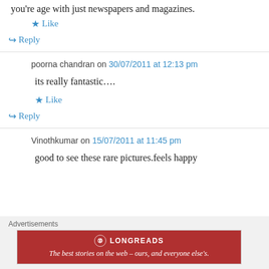you're age with just newspapers and magazines.
★ Like
↳ Reply
poorna chandran on 30/07/2011 at 12:13 pm
its really fantastic….
★ Like
↳ Reply
Vinothkumar on 15/07/2011 at 11:45 pm
good to see these rare pictures.feels happy
Advertisements
[Figure (other): Longreads advertisement banner: 'The best stories on the web – ours, and everyone else's.' with Longreads logo on red background]